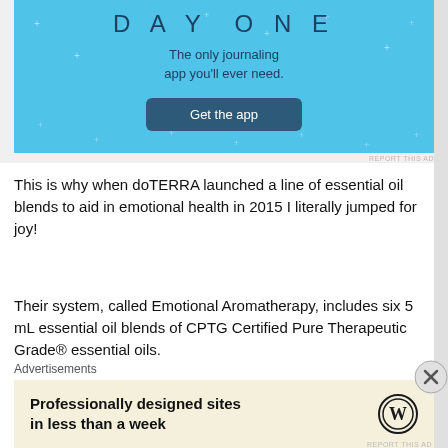[Figure (screenshot): Day One journaling app advertisement on light blue background with 'Get the app' button]
This is why when doTERRA launched a line of essential oil blends to aid in emotional health in 2015 I literally jumped for joy!
Their system, called Emotional Aromatherapy, includes six 5 mL essential oil blends of CPTG Certified Pure Therapeutic Grade® essential oils.
[Figure (photo): Row of six dark essential oil bottle caps from doTERRA Emotional Aromatherapy line]
Advertisements
[Figure (screenshot): WordPress advertisement: Professionally designed sites in less than a week, with WordPress logo]